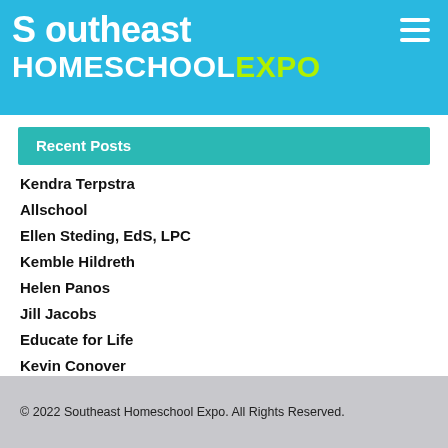Southeast HOMESCHOOL EXPO
Recent Posts
Kendra Terpstra
Allschool
Ellen Steding, EdS, LPC
Kemble Hildreth
Helen Panos
Jill Jacobs
Educate for Life
Kevin Conover
2021 Workshop Schedule
Bridgemont International School
© 2022 Southeast Homeschool Expo. All Rights Reserved.